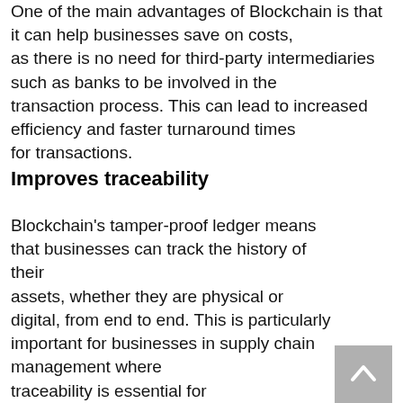One of the main advantages of Blockchain is that it can help businesses save on costs, as there is no need for third-party intermediaries such as banks to be involved in the transaction process. This can lead to increased efficiency and faster turnaround times for transactions.
Improves traceability
Blockchain's tamper-proof ledger means that businesses can track the history of their assets, whether they are physical or digital, from end to end. This is particularly important for businesses in supply chain management where traceability is essential for